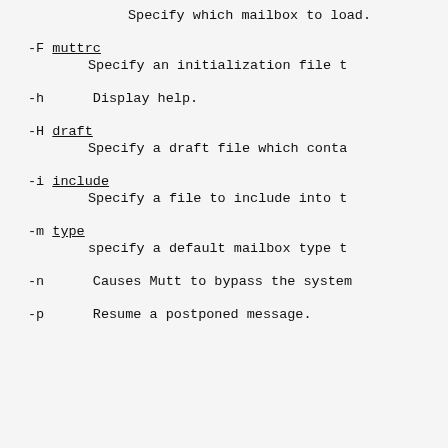Specify which mailbox to load.
-F muttrc
        Specify an initialization file t
-h      Display help.
-H draft
        Specify a draft file which conta
-i include
        Specify a file to include into t
-m type
        specify a default mailbox type t
-n      Causes Mutt to bypass the system
-p      Resume a postponed message.